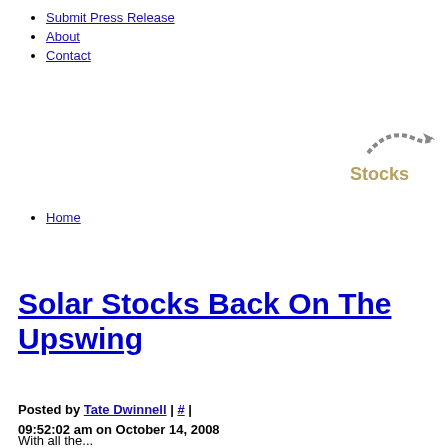Submit Press Release
About
Contact
[Figure (logo): Stocks website logo with arc/arrow graphic and text 'Stocks' in gold/tan color]
Home
Solar Stocks Back On The Upswing
Posted by Tate Dwinnell | # | 09:52:02 am on October 14, 2008
With all the...